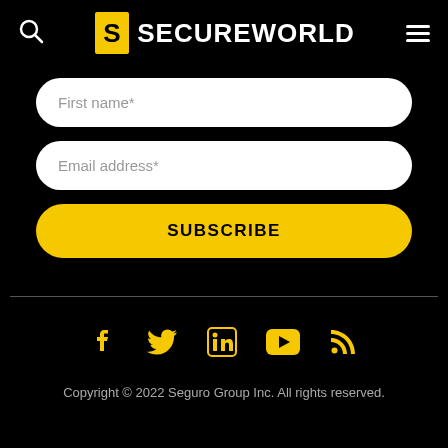[Figure (logo): SecureWorld logo with yellow shield badge and white SECUREWORLD text, with search icon left and hamburger menu right]
First name*
Email address*
SUBSCRIBE
[Figure (infographic): Social media icons: Facebook, Twitter, LinkedIn, YouTube, RSS feed — all in yellow]
Copyright © 2022 Seguro Group Inc. All rights reserved.